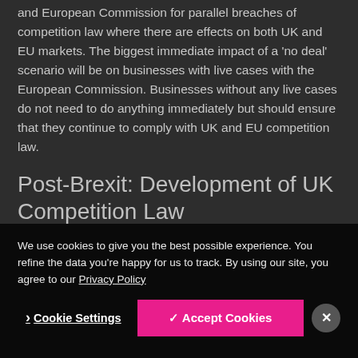businesses will fall being investigated by both the CMA and European Commission for parallel breaches of competition law where there are effects on both UK and EU markets. The biggest immediate impact of a 'no deal' scenario will be on businesses with live cases with the European Commission. Businesses without any live cases do not need to do anything immediately but should ensure that they continue to comply with UK and EU competition law.
Post-Brexit: Development of UK Competition Law
We use cookies to give you the best possible experience. You refine the data you're happy for us to track. By using our site, you agree to our Privacy Policy